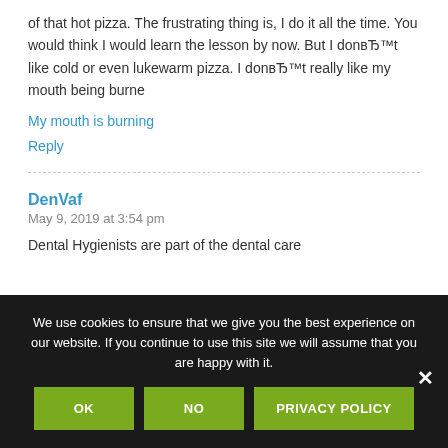of that hot pizza. The frustrating thing is, I do it all the time. You would think I would learn the lesson by now. But I don't like cold or even lukewarm pizza. I don't really like my mouth being burne
My mouth is burning
Reply
DenVaf
May 9, 2019 at 3:54 pm
Dental Hygienists are part of the dental care
We use cookies to ensure that we give you the best experience on our website. If you continue to use this site we will assume that you are happy with it.
OK
NO
PRIVACY POLICY